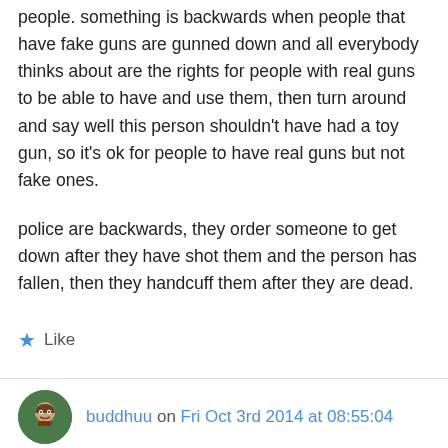people. something is backwards when people that have fake guns are gunned down and all everybody thinks about are the rights for people with real guns to be able to have and use them, then turn around and say well this person shouldn't have had a toy gun, so it's ok for people to have real guns but not fake ones.

police are backwards, they order someone to get down after they have shot them and the person has fallen, then they handcuff them after they are dead.
★ Like
buddhuu on Fri Oct 3rd 2014 at 08:55:04